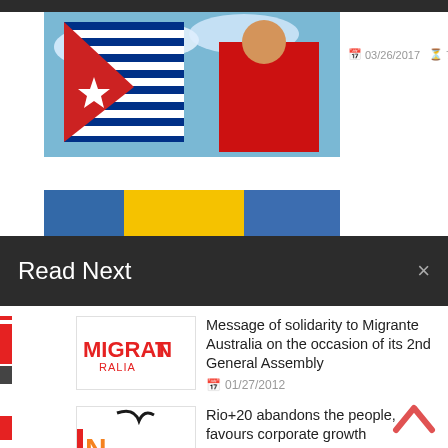[Figure (photo): Flag image with blue and white stripes and a red portion, partially visible at top left of page]
03/26/2017  7 min read
[Figure (photo): Partial image with blue and yellow colors visible at left, partially covered by Read Next overlay]
Read Next
[Figure (logo): Migrante Australia logo in red text]
Message of solidarity to Migrante Australia on the occasion of its 2nd General Assembly
01/27/2012
[Figure (logo): iN International Development for the... logo with orange N and black arc]
Rio+20 abandons the people, favours corporate growth
06/22/2012